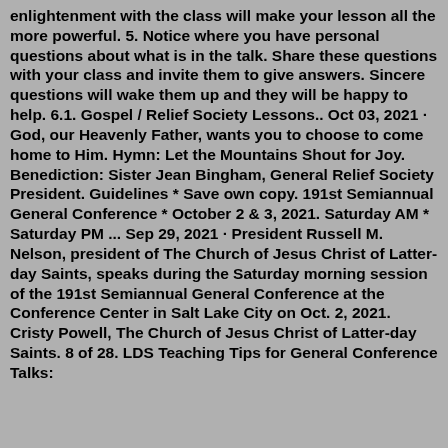enlightenment with the class will make your lesson all the more powerful. 5. Notice where you have personal questions about what is in the talk. Share these questions with your class and invite them to give answers. Sincere questions will wake them up and they will be happy to help. 6.1. Gospel / Relief Society Lessons.. Oct 03, 2021 · God, our Heavenly Father, wants you to choose to come home to Him. Hymn: Let the Mountains Shout for Joy. Benediction: Sister Jean Bingham, General Relief Society President. Guidelines * Save own copy. 191st Semiannual General Conference * October 2 & 3, 2021. Saturday AM * Saturday PM ... Sep 29, 2021 · President Russell M. Nelson, president of The Church of Jesus Christ of Latter-day Saints, speaks during the Saturday morning session of the 191st Semiannual General Conference at the Conference Center in Salt Lake City on Oct. 2, 2021. Cristy Powell, The Church of Jesus Christ of Latter-day Saints. 8 of 28. LDS Teaching Tips for General Conference Talks: